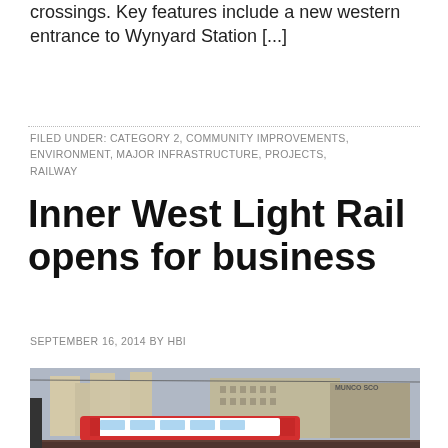crossings. Key features include a new western entrance to Wynyard Station [...]
FILED UNDER: CATEGORY 2, COMMUNITY IMPROVEMENTS, ENVIRONMENT, MAJOR INFRASTRUCTURE, PROJECTS, RAILWAY
Inner West Light Rail opens for business
SEPTEMBER 16, 2014 BY HBI
[Figure (photo): A red and white light rail tram at a station platform with large grain silos and industrial buildings in the background.]